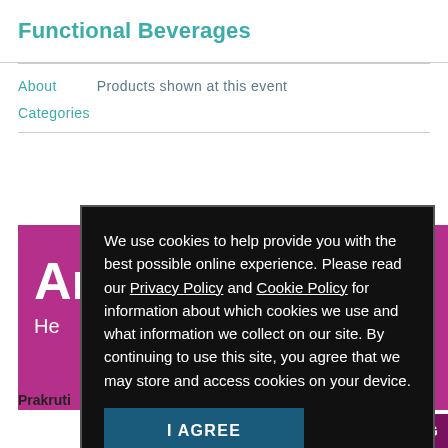Functional Beverages
About    Products shown at this event
Categories
[Figure (screenshot): Pink/magenta card with large letter 'Ar' visible and text 'He' below, partial product card for Prakruti]
We use cookies to help provide you with the best possible online experience. Please read our Privacy Policy and Cookie Policy for information about which cookies we use and what information we collect on our site. By continuing to use this site, you agree that we may store and access cookies on your device.
I AGREE